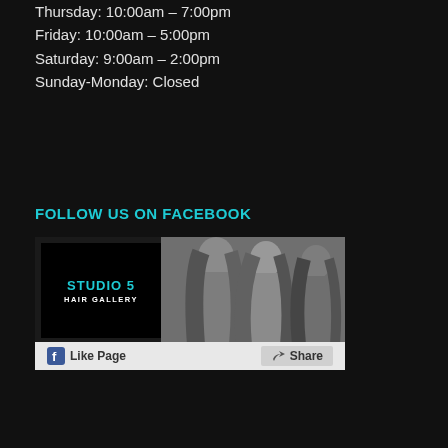Thursday: 10:00am – 7:00pm
Friday: 10:00am – 5:00pm
Saturday: 9:00am – 2:00pm
Sunday-Monday: Closed
FOLLOW US ON FACEBOOK
[Figure (screenshot): Facebook page widget for Studio 5 Hair Gallery with 'Like Page' and 'Share' buttons, showing the studio logo on a black background and a grayscale photo of women with long hair.]